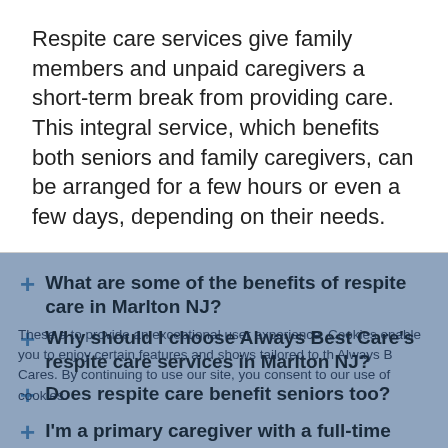Respite care services give family members and unpaid caregivers a short-term break from providing care. This integral service, which benefits both seniors and family caregivers, can be arranged for a few hours or even a few days, depending on their needs.
What are some of the benefits of respite care in Marlton NJ?
Why should I choose Always Best Care's respite care services in Marlton NJ?
Does respite care benefit seniors too?
I'm a primary caregiver with a full-time job. How will respite care benefit me?
Can your respite care services in